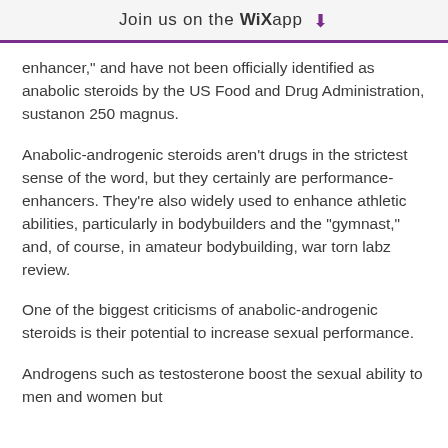Join us on the WiX app
enhancer," and have not been officially identified as anabolic steroids by the US Food and Drug Administration, sustanon 250 magnus.
Anabolic-androgenic steroids aren't drugs in the strictest sense of the word, but they certainly are performance-enhancers. They're also widely used to enhance athletic abilities, particularly in bodybuilders and the "gymnast," and, of course, in amateur bodybuilding, war torn labz review.
One of the biggest criticisms of anabolic-androgenic steroids is their potential to increase sexual performance.
Androgens such as testosterone boost the sexual ability to men and women but